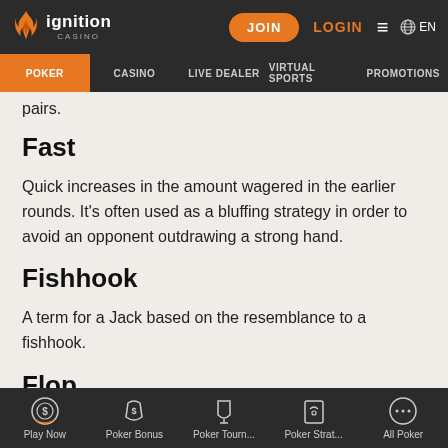Ignition Casino — POKER | CASINO | LIVE DEALER | VIRTUAL SPORTS | PROMOTIONS
pairs.
Fast
Quick increases in the amount wagered in the earlier rounds. It's often used as a bluffing strategy in order to avoid an opponent outdrawing a strong hand.
Fishhook
A term for a Jack based on the resemblance to a fishhook.
Flop
Play Now | Poker Bonus | Poker Tourn... | Poker Strat... | All Poker